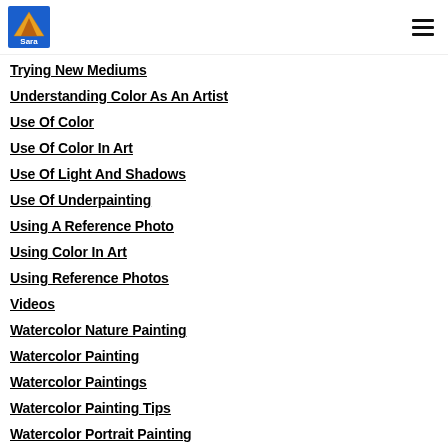Sara logo and navigation menu
Trying New Mediums
Understanding Color As An Artist
Use Of Color
Use Of Color In Art
Use Of Light And Shadows
Use Of Underpainting
Using A Reference Photo
Using Color In Art
Using Reference Photos
Videos
Watercolor Nature Painting
Watercolor Painting
Watercolor Paintings
Watercolor Painting Tips
Watercolor Portrait Painting
Watercolor Portraits